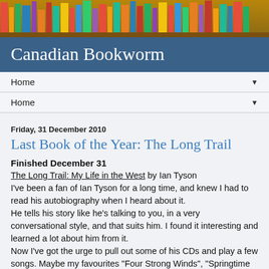[Figure (photo): Colorful bookshelf header image showing books of various colors and sizes on a wooden shelf]
Canadian Bookworm
Home ▼
Home ▼
Friday, 31 December 2010
Last Book of the Year: The Long Trail
Finished December 31
The Long Trail: My Life in the West by Ian Tyson
I've been a fan of Ian Tyson for a long time, and knew I had to read his autobiography when I heard about it.
He tells his story like he's talking to you, in a very conversational style, and that suits him. I found it interesting and learned a lot about him from it.
Now I've got the urge to pull out some of his CDs and play a few songs. Maybe my favourites "Four Strong Winds", "Springtime in Alberta", or "Magpie". Guess I'm still an Alberta girl at heart.